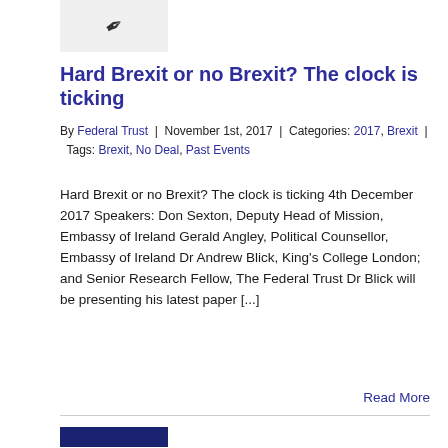[Figure (illustration): Small image with a pen/quill icon on a light grey background]
Hard Brexit or no Brexit? The clock is ticking
By Federal Trust | November 1st, 2017 | Categories: 2017, Brexit | Tags: Brexit, No Deal, Past Events
Hard Brexit or no Brexit? The clock is ticking 4th December 2017 Speakers: Don Sexton, Deputy Head of Mission, Embassy of Ireland Gerald Angley, Political Counsellor, Embassy of Ireland Dr Andrew Blick, King's College London; and Senior Research Fellow, The Federal Trust Dr Blick will be presenting his latest paper [...]
Read More